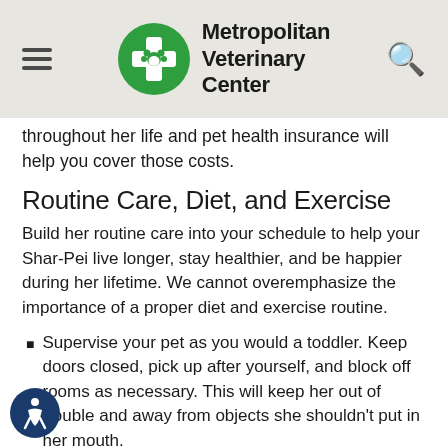Metropolitan Veterinary Center
throughout her life and pet health insurance will help you cover those costs.
Routine Care, Diet, and Exercise
Build her routine care into your schedule to help your Shar-Pei live longer, stay healthier, and be happier during her lifetime. We cannot overemphasize the importance of a proper diet and exercise routine.
Supervise your pet as you would a toddler. Keep doors closed, pick up after yourself, and block off rooms as necessary. This will keep her out of trouble and away from objects she shouldn't put in her mouth.